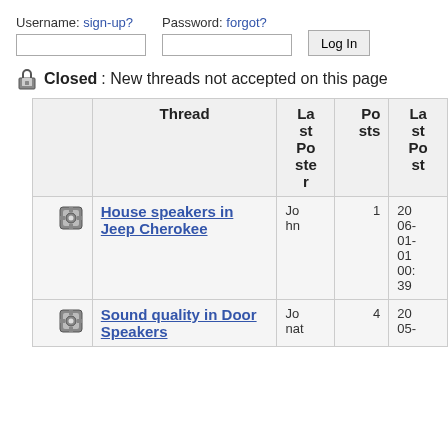Username: sign-up?   Password: forgot?   [input fields]   [Log In button]
Closed: New threads not accepted on this page
|  | Thread | Last Poster | Posts | Last Post |
| --- | --- | --- | --- | --- |
| [icon] | House speakers in Jeep Cherokee | John | 1 | 2006-01-01 00:39 |
| [icon] | Sound quality in Door Speakers | Jonat | 4 | 2005- |